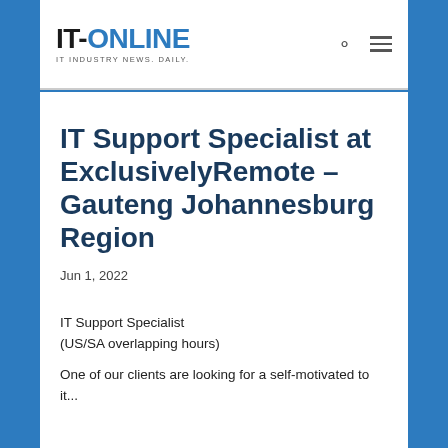IT-ONLINE IT Industry News. Daily.
IT Support Specialist at ExclusivelyRemote – Gauteng Johannesburg Region
Jun 1, 2022
IT Support Specialist
(US/SA overlapping hours)
One of our clients are looking for a self-motivated to it... (truncated)